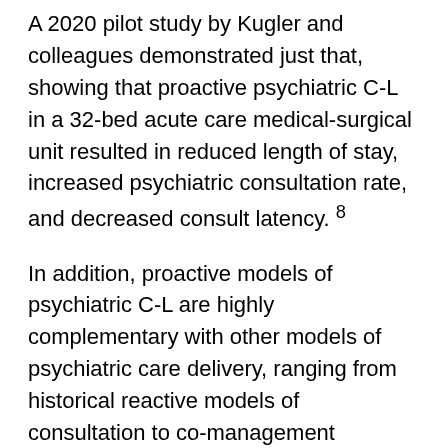A 2020 pilot study by Kugler and colleagues demonstrated just that, showing that proactive psychiatric C-L in a 32-bed acute care medical-surgical unit resulted in reduced length of stay, increased psychiatric consultation rate, and decreased consult latency. 8
In addition, proactive models of psychiatric C-L are highly complementary with other models of psychiatric care delivery, ranging from historical reactive models of consultation to co-management models,9 and with different models of payment, such as capitation systems or pay for outcomes.
Proactive models routinely use interdisciplinary teams of providers, including physicians, advanced-practice providers, nurses, social workers, and case managers, further extending